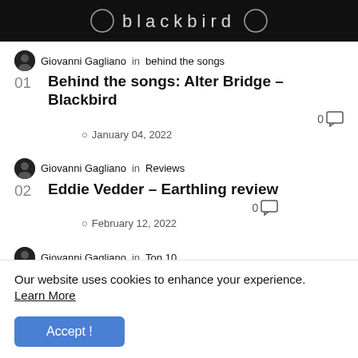[Figure (photo): Dark album cover image with 'blackbird' text visible in white lettering on a dark background]
Giovanni Gagliano in behind the songs
Behind the songs: Alter Bridge - Blackbird
0 [comment icon]
January 04, 2022
Giovanni Gagliano in Reviews
Eddie Vedder - Earthling review
0 [comment icon]
February 12, 2022
Giovanni Gagliano in Top 10
Le 10 migliori canzoni per fare sesso
Our website uses cookies to enhance your experience. Learn More
Accept !